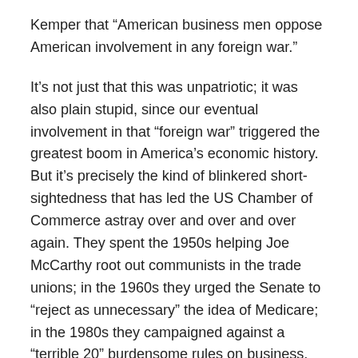Kemper that “American business men oppose American involvement in any foreign war.”
It’s not just that this was unpatriotic; it was also plain stupid, since our eventual involvement in that “foreign war” triggered the greatest boom in America’s economic history. But it’s precisely the kind of blinkered short-sightedness that has led the US Chamber of Commerce astray over and over and over again. They spent the 1950s helping Joe McCarthy root out communists in the trade unions; in the 1960s they urged the Senate to “reject as unnecessary” the idea of Medicare; in the 1980s they campaigned against a “terrible 20” burdensome rules on business, including new licensing requirements for nuclear plants and “various mine safety rules.”
As Brad Johnson, at the Center for American Progress,